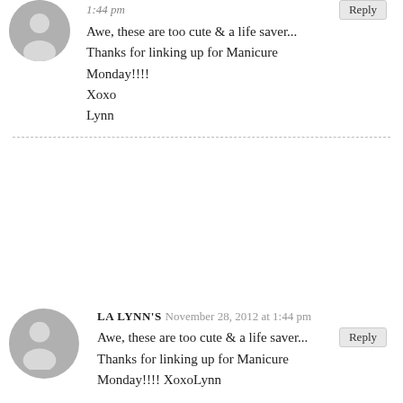1:44 pm
Awe, these are too cute & a life saver... Thanks for linking up for Manicure Monday!!!! Xoxo Lynn
LA LYNN'S   November 28, 2012 at 1:44 pm
Awe, these are too cute & a life saver... Thanks for linking up for Manicure Monday!!!! XoxoLynn